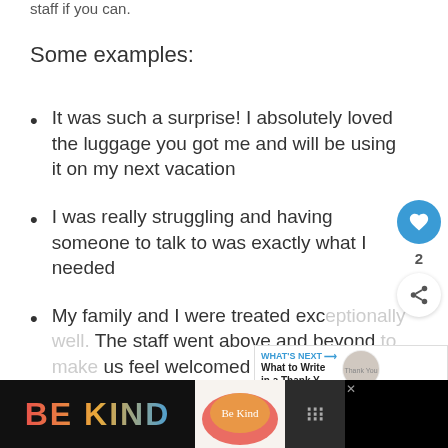staff if you can.
Some examples:
It was such a surprise! I absolutely loved the luggage you got me and will be using it on my next vacation
I was really struggling and having someone to talk to was exactly what I needed
My family and I were treated exc... The staff went above and beyond... us feel welcomed